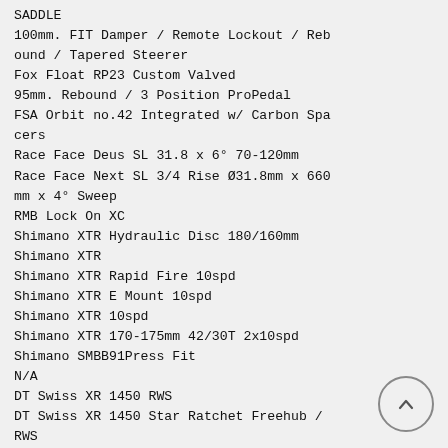SADDLE
100mm. FIT Damper / Remote Lockout / Rebound / Tapered Steerer
Fox Float RP23 Custom Valved
95mm. Rebound / 3 Position ProPedal
FSA Orbit no.42 Integrated w/ Carbon Spacers
Race Face Deus SL 31.8 x 6° 70-120mm
Race Face Next SL 3/4 Rise Ø31.8mm x 660mm x 4° Sweep
RMB Lock On XC
Shimano XTR Hydraulic Disc 180/160mm
Shimano XTR
Shimano XTR Rapid Fire 10spd
Shimano XTR E Mount 10spd
Shimano XTR 10spd
Shimano XTR 170-175mm 42/30T 2x10spd
Shimano SMBB91Press Fit
N/A
DT Swiss XR 1450 RWS
DT Swiss XR 1450 Star Ratchet Freehub / RWS
Shimano XTR-10 11-36T 10spd
Shimano XTR 10spd
DT Swiss Aerolite